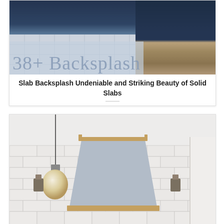[Figure (photo): Top card showing kitchen/interior photo with navy blue upper section, tile floor on left, wooden bar stool on right, with large semi-transparent overlay text reading '38+ Backsplash']
Slab Backsplash Undeniable and Striking Beauty of Solid Slabs
[Figure (photo): Kitchen interior photo showing white subway tile backsplash, gray/blue range hood with brass/gold trim accents, pendant globe lights on left, wall sconces on either side of the hood, and white cabinetry on right]